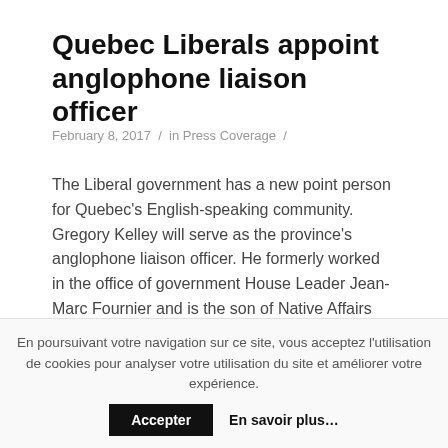Quebec Liberals appoint anglophone liaison officer
February 8, 2017 / in Press Coverage /
The Liberal government has a new point person for Quebec's English-speaking community. Gregory Kelley will serve as the province's anglophone liaison officer. He formerly worked in the office of government House Leader Jean-Marc Fournier and is the son of Native Affairs Minister Geoff Kelley.
The Quebec Community Groups Network said it welcomes the appointment.
En poursuivant votre navigation sur ce site, vous acceptez l'utilisation de cookies pour analyser votre utilisation du site et améliorer votre expérience.